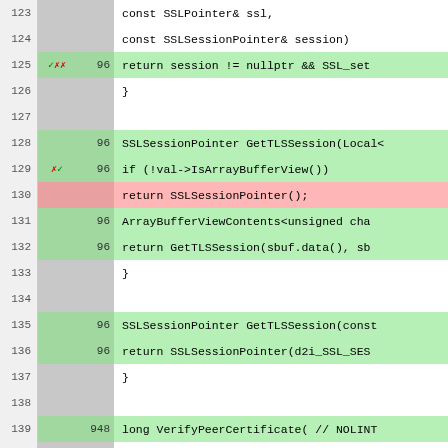[Figure (screenshot): Code coverage view showing C++ source lines 123-148 with line numbers, coverage markers, hit counts, and syntax-highlighted code. Green rows indicate covered lines, pink rows indicate uncovered lines.]